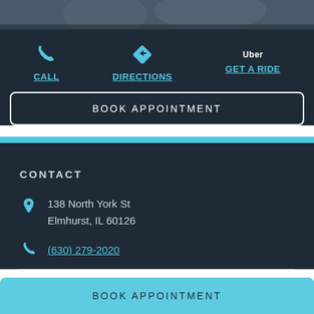[Figure (photo): Partial photo strip at top of page showing blurred people in dark/blue tones]
CALL
DIRECTIONS
Uber
GET A RIDE
BOOK APPOINTMENT
CONTACT
138 North York St
Elmhurst, IL 60126
(630) 279-2020
BOOK APPOINTMENT